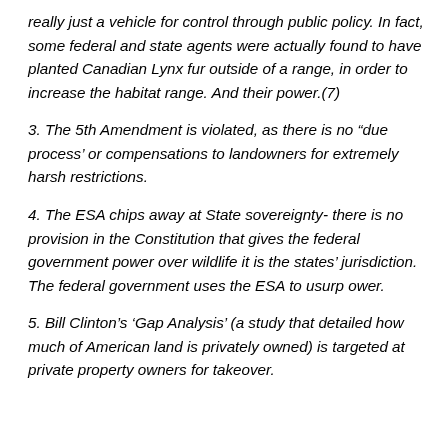really just a vehicle for control through public policy. In fact, some federal and state agents were actually found to have planted Canadian Lynx fur outside of a range, in order to increase the habitat range. And their power.(7)
3. The 5th Amendment is violated, as there is no “due process’ or compensations to landowners for extremely harsh restrictions.
4. The ESA chips away at State sovereignty- there is no provision in the Constitution that gives the federal government power over wildlife it is the states’ jurisdiction. The federal government uses the ESA to usurp ower.
5. Bill Clinton’s ‘Gap Analysis’ (a study that detailed how much of American land is privately owned) is targeted at private property owners for takeover.